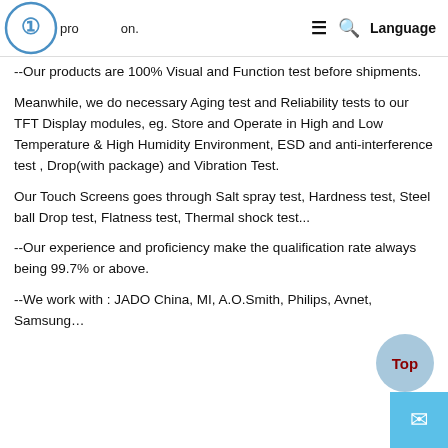company, we've been adhering to the ISO standards strictly in our production. ≡ 🔍 Language
--Our products are 100% Visual and Function test before shipments.
Meanwhile, we do necessary Aging test and Reliability tests to our TFT Display modules, eg. Store and Operate in High and Low Temperature & High Humidity Environment, ESD and anti-interference test , Drop(with package) and Vibration Test.
Our Touch Screens goes through Salt spray test, Hardness test, Steel ball Drop test, Flatness test, Thermal shock test...
--Our experience and proficiency make the qualification rate always being 99.7% or above.
--We work with : JADO China, MI, A.O.Smith, Philips, Avnet, Samsung…